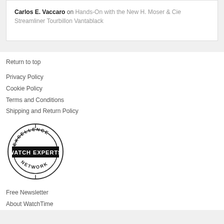Carlos E. Vaccaro on Hands-On with the New H. Moser & Cie Streamliner Tourbillon Vantablack
Return to top
Privacy Policy
Cookie Policy
Terms and Conditions
Shipping and Return Policy
[Figure (logo): Excellence Watch Experts Network circular badge/stamp logo with black rectangular banner reading WATCH EXPERTS]
Free Newsletter
About WatchTime